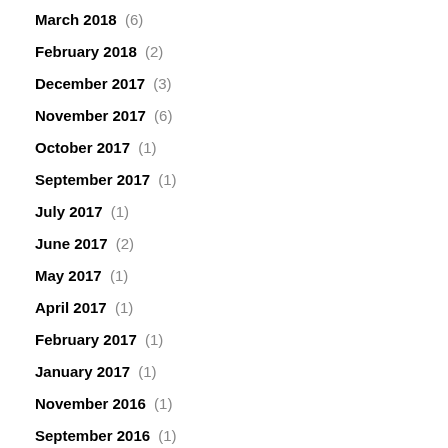March 2018 (6)
February 2018 (2)
December 2017 (3)
November 2017 (6)
October 2017 (1)
September 2017 (1)
July 2017 (1)
June 2017 (2)
May 2017 (1)
April 2017 (1)
February 2017 (1)
January 2017 (1)
November 2016 (1)
September 2016 (1)